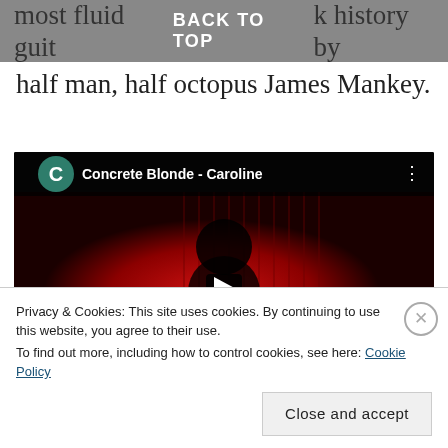BACK TO TOP
most fluid guitar history by half man, half octopus James Mankey.
[Figure (screenshot): YouTube video embed showing 'Concrete Blonde - Caroline' with a red curtain background, play button overlay, VEVO branding, and channel avatar with letter C]
Privacy & Cookies: This site uses cookies. By continuing to use this website, you agree to their use.
To find out more, including how to control cookies, see here: Cookie Policy
Close and accept